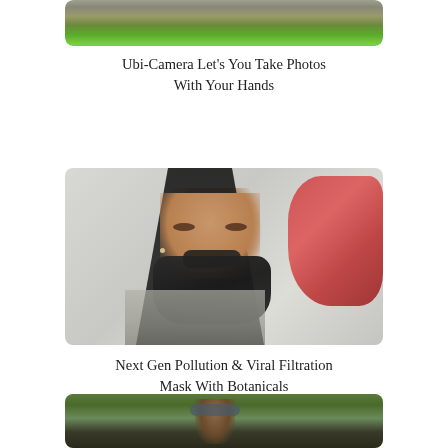[Figure (photo): Partial top view of Ubi-Camera device, a green square-shaped camera attached to a bicycle handlebar]
Ubi-Camera Let’s You Take Photos With Your Hands
[Figure (photo): Woman wearing a black facial mask/respirator in front of a wall with red paint, representing a pollution and viral filtration mask with botanicals]
Next Gen Pollution & Viral Filtration Mask With Botanicals
[Figure (photo): Partial bottom image showing a person outdoors in an urban setting, partially cropped]